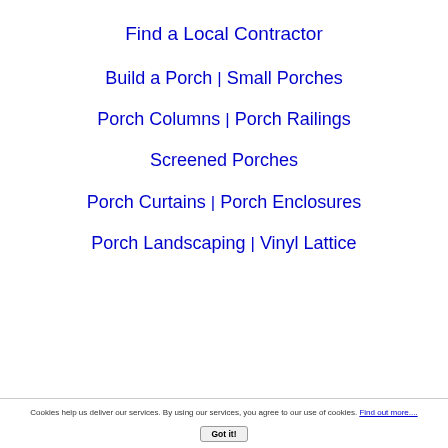Find a Local Contractor
Build a Porch | Small Porches
Porch Columns | Porch Railings
Screened Porches
Porch Curtains | Porch Enclosures
Porch Landscaping | Vinyl Lattice
Cookies help us deliver our services. By using our services, you agree to our use of cookies. Find out more.... Got it!